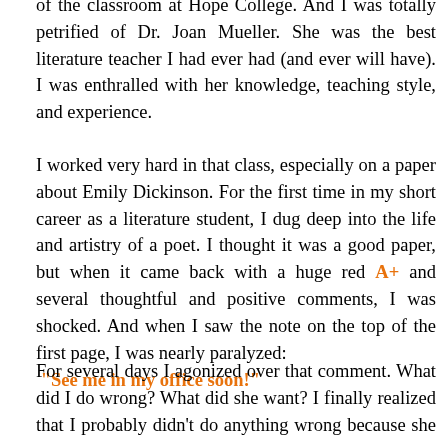of the classroom at Hope College. And I was totally petrified of Dr. Joan Mueller. She was the best literature teacher I had ever had (and ever will have). I was enthralled with her knowledge, teaching style, and experience.
I worked very hard in that class, especially on a paper about Emily Dickinson. For the first time in my short career as a literature student, I dug deep into the life and artistry of a poet. I thought it was a good paper, but when it came back with a huge red A+ and several thoughtful and positive comments, I was shocked. And when I saw the note on the top of the first page, I was nearly paralyzed: “See me in my office soon!”
For several days I agonized over that comment. What did I do wrong? What did she want? I finally realized that I probably didn’t do anything wrong because she was so